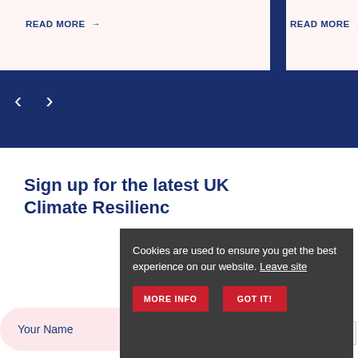READ MORE →
READ MORE →
[Figure (screenshot): Navigation carousel arrows (left and right chevrons) on dark navy background]
Sign up for the latest UK Climate Resilienc…
Your Name
Cookies are used to ensure you get the best experience on our website. Leave site
MORE INFO
GOT IT!